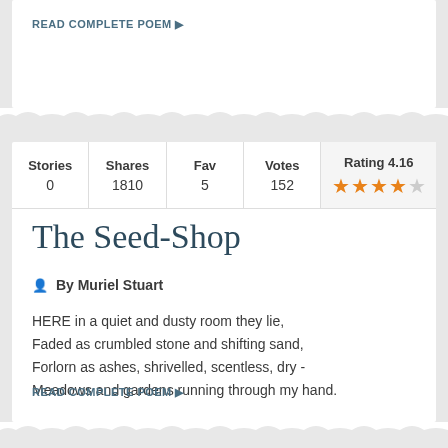READ COMPLETE POEM ▶
| Stories | Shares | Fav | Votes | Rating 4.16 |
| --- | --- | --- | --- | --- |
| 0 | 1810 | 5 | 152 | ★★★★☆ |
The Seed-Shop
By Muriel Stuart
HERE in a quiet and dusty room they lie,
Faded as crumbled stone and shifting sand,
Forlorn as ashes, shrivelled, scentless, dry -
Meadows and gardens running through my hand.
READ COMPLETE POEM ▶